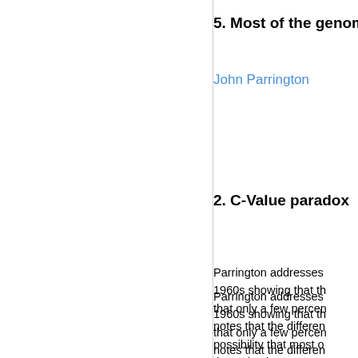5. Most of the genom
John Parrington
2. C-Value paradox
Parrington addresses the findings from the 1960s showing that th... that only a few percen... notes that the differen... possibility that most o... that scientists were su... sequence of the huma... little of our genomes a...
Contradictory stuff like... hand, he recognizes t... genome encodes prot... confirmed when the h...